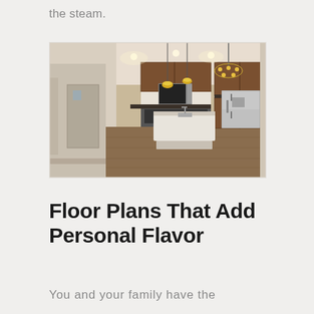the steam.
[Figure (photo): Interior photo of a modern kitchen with wood cabinets, stainless steel appliances including a refrigerator and microwave, a white kitchen island, hardwood floors, recessed lighting, and a chandelier, connected to a hallway.]
Floor Plans That Add Personal Flavor
You and your family have the